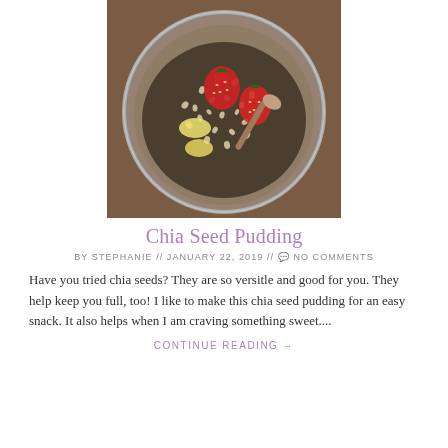[Figure (photo): A glass jar viewed from above containing chia seed pudding topped with strawberries and banana slices, on a wooden surface.]
Chia Seed Pudding
BY STEPHANIE // JANUARY 22, 2019 // 💬 NO COMMENTS
Have you tried chia seeds? They are so versitle and good for you. They help keep you full, too! I like to make this chia seed pudding for an easy snack. It also helps when I am craving something sweet....
CONTINUE READING →